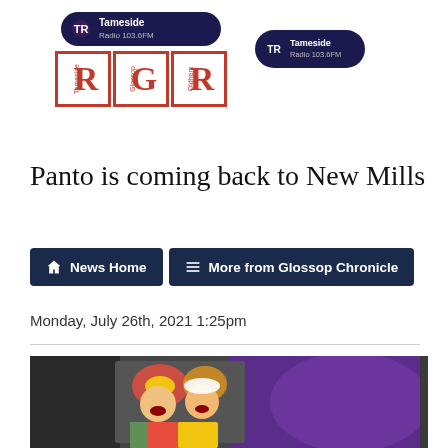[Figure (logo): Tameside Radio 103.6FM logo pill (dark navy) with TR icon and text, above RGR red-bordered letter boxes]
[Figure (logo): Tameside Radio small pill logo (dark navy) on right side of header]
Panto is coming back to New Mills
News Home
More from Glossop Chronicle
Monday, July 26th, 2021 1:25pm
[Figure (photo): Two pantomime performers in colourful costumes, one dressed as a clown in red/yellow/green, the other as a dame in striped yellow/white outfit with white cap, both laughing on stage with purple backdrop]